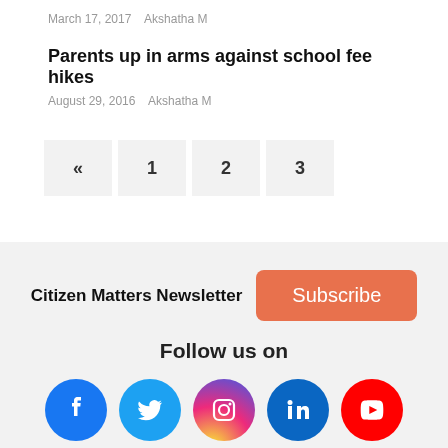March 17, 2017  Akshatha M
Parents up in arms against school fee hikes
August 29, 2016  Akshatha M
« 1 2 3
Citizen Matters Newsletter Subscribe
Follow us on
[Figure (infographic): Social media icons: Facebook, Twitter, Instagram, LinkedIn, YouTube]
Back to top arrow